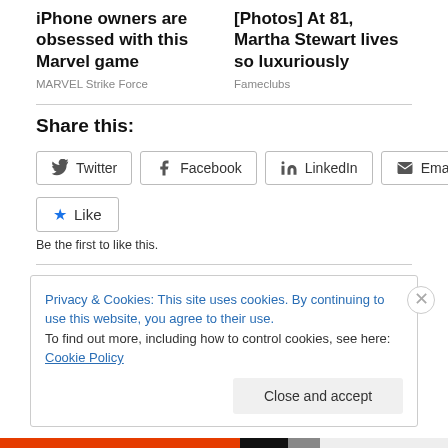iPhone owners are obsessed with this Marvel game
MARVEL Strike Force
[Photos] At 81, Martha Stewart lives so luxuriously
Fameclubs
Share this:
Twitter  Facebook  LinkedIn  Email
Like
Be the first to like this.
Privacy & Cookies: This site uses cookies. By continuing to use this website, you agree to their use.
To find out more, including how to control cookies, see here: Cookie Policy
Close and accept